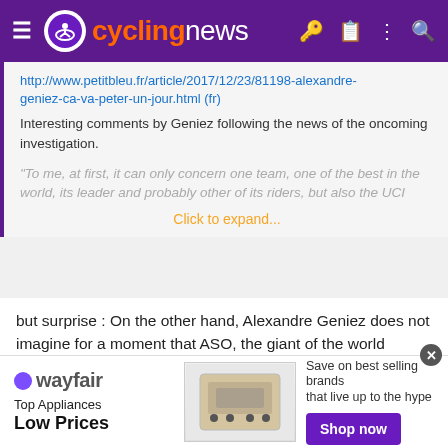cyclingnews
http://www.petitbleu.fr/article/2017/12/23/81198-alexandre-geniez-ca-va-peter-un-jour.html (fr)
Interesting comments by Geniez following the news of the oncoming investigation.
"To me, at first, it can only concern one team, one of the best in the world, its leader and probably other of its riders, but also the UCI
Click to expand...
but surprise : On the other hand, Alexandre Geniez does not imagine for a moment that ASO, the giant of the world organization, is involved in the case of corruption that interests the judges. "First because I do not see their interest, then because they have often proved that they were the first to fight against all fraud. Frankly no, I do not think so ...
[Figure (infographic): Wayfair advertisement banner: Top Appliances Low Prices, Save on best selling brands that live up to the hype, Shop now button]